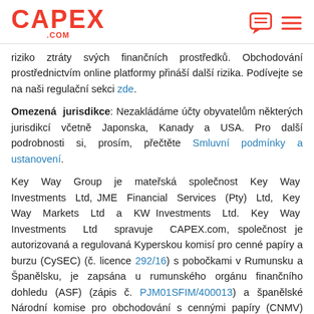CAPEX.com
riziko ztráty svých finančních prostředků. Obchodování prostřednictvím online platformy přináší další rizika. Podívejte se na naši regulační sekci zde.
Omezená jurisdikce: Nezakládáme účty obyvatelům některých jurisdikcí včetně Japonska, Kanady a USA. Pro další podrobnosti si, prosím, přečtěte Smluvní podmínky a ustanovení.
Key Way Group je mateřská společnost Key Way Investments Ltd, JME Financial Services (Pty) Ltd, Key Way Markets Ltd a KW Investments Ltd. Key Way Investments Ltd spravuje CAPEX.com, společnost je autorizovaná a regulovaná Kyperskou komisí pro cenné papíry a burzu (CySEC) (č. licence 292/16) s pobočkami v Rumunsku a Španělsku, je zapsána u rumunského orgánu finančního dohledu (ASF) (zápis č. PJM01SFIM/400013) a španělské Národní komise pro obchodování s cennými papíry (CNMV) (zápis č. 129). JME Financial Services (Pty) Ltd spravuje za.capex.com, společnost je